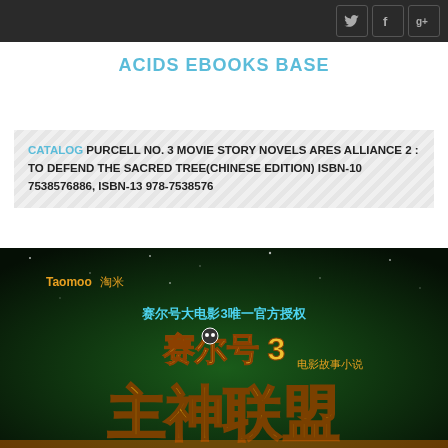ACIDS EBOOKS BASE — navigation bar with social icons
ACIDS EBOOKS BASE
CATALOG PURCELL NO. 3 MOVIE STORY NOVELS ARES ALLIANCE 2 : TO DEFEND THE SACRED TREE(CHINESE EDITION) ISBN-10 7538576886, ISBN-13 978-7538576
[Figure (photo): Book cover image for Purcell No. 3 Movie Story Novels Ares Alliance 2, showing Chinese text and Taomoo branding on a dark green background with stylized Chinese characters for 'Ares Alliance']